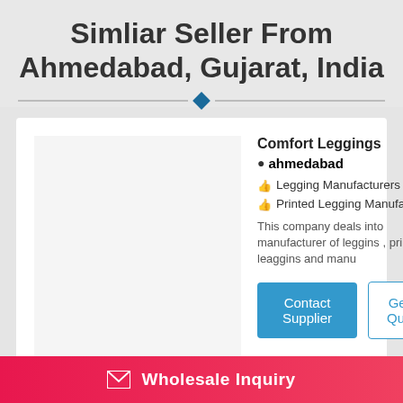Simliar Seller From Ahmedabad, Gujarat, India
Comfort Leggings
ahmedabad
Legging Manufacturers
Printed Legging Manufacturers
This company deals into manufacturer of leggins , printed leaggins and manu
Contact Supplier
Get A Quote
Wholesale Inquiry